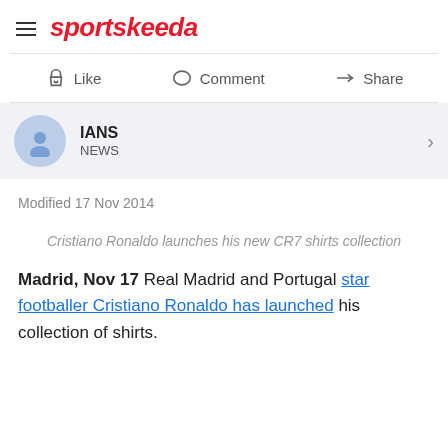sportskeeda
Like   Comment   Share
IANS NEWS
Modified 17 Nov 2014
Cristiano Ronaldo launches his new CR7 shirts collection
Madrid, Nov 17 Real Madrid and Portugal star footballer Cristiano Ronaldo has launched his collection of shirts.